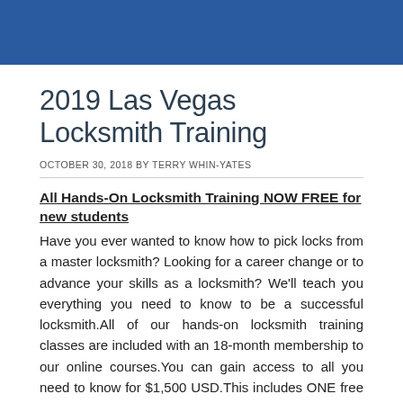2019 Las Vegas Locksmith Training
OCTOBER 30, 2018 BY TERRY WHIN-YATES
All Hands-On Locksmith Training NOW FREE for new students
Have you ever wanted to know how to pick locks from a master locksmith? Looking for a career change or to advance your skills as a locksmith? We'll teach you everything you need to know to be a successful locksmith.All of our hands-on locksmith training classes are included with an 18-month membership to our online courses.You can gain access to all you need to know for $1,500 USD.This includes ONE free hands-on locksmith training